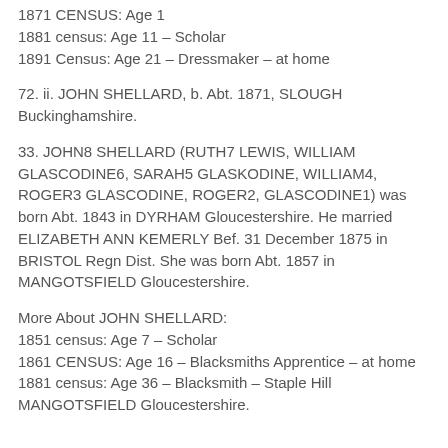1871 CENSUS: Age 1
1881 census: Age 11 – Scholar
1891 Census: Age 21 – Dressmaker – at home
72. ii. JOHN SHELLARD, b. Abt. 1871, SLOUGH Buckinghamshire.
33. JOHN8 SHELLARD (RUTH7 LEWIS, WILLIAM GLASCODINE6, SARAH5 GLASKODINE, WILLIAM4, ROGER3 GLASCODINE, ROGER2, GLASCODINE1) was born Abt. 1843 in DYRHAM Gloucestershire. He married ELIZABETH ANN KEMERLY Bef. 31 December 1875 in BRISTOL Regn Dist. She was born Abt. 1857 in MANGOTSFIELD Gloucestershire.
More About JOHN SHELLARD:
1851 census: Age 7 – Scholar
1861 CENSUS: Age 16 – Blacksmiths Apprentice – at home
1881 census: Age 36 – Blacksmith – Staple Hill MANGOTSFIELD Gloucestershire.